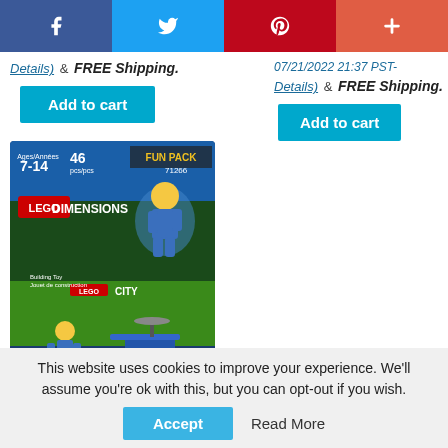[Figure (screenshot): Social share bar with Facebook, Twitter, Pinterest, and plus buttons]
Details) & FREE Shipping.
Add to cart
07/21/2022 21:37 PST-
Details) & FREE Shipping.
Add to cart
[Figure (photo): LEGO Dimensions Fun Pack 71266 LEGO City product box showing Chase McCain minifigure and Police Helicopter]
This website uses cookies to improve your experience. We'll assume you're ok with this, but you can opt-out if you wish.
Accept
Read More